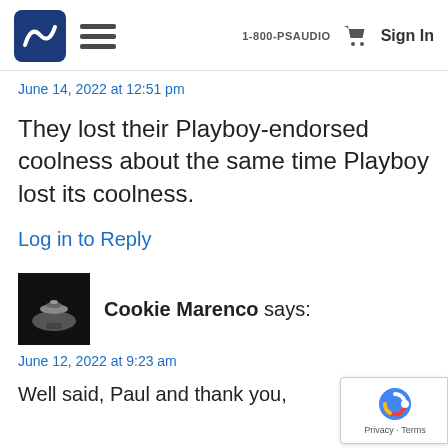1-800-PSAUDIO  Sign In
June 14, 2022 at 12:51 pm
They lost their Playboy-endorsed coolness about the same time Playboy lost its coolness.
Log in to Reply
Cookie Marenco says:
June 12, 2022 at 9:23 am
Well said, Paul and thank you,